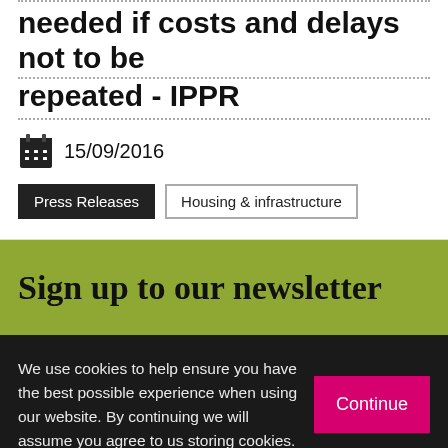needed if costs and delays not to be repeated - IPPR
15/09/2016
Press Releases
Housing & infrastructure
Sign up to our newsletter
We use cookies to help ensure you have the best possible experience when using our website. By continuing we will assume you agree to us storing cookies.
Continue